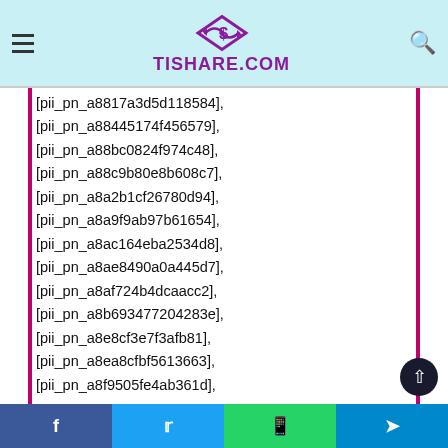TISHARE.COM
[pii_pn_a8817a3d5d118584],
[pii_pn_a88445174f456579],
[pii_pn_a88bc0824f974c48],
[pii_pn_a88c9b80e8b608c7],
[pii_pn_a8a2b1cf26780d94],
[pii_pn_a8a9f9ab97b61654],
[pii_pn_a8ac164eba2534d8],
[pii_pn_a8ae8490a0a445d7],
[pii_pn_a8af724b4dcaacc2],
[pii_pn_a8b693477204283e],
[pii_pn_a8e8cf3e7f3afb81],
[pii_pn_a8ea8cfbf5613663],
[pii_pn_a8f9505fe4ab361d],
Facebook | Twitter | WhatsApp | Telegram